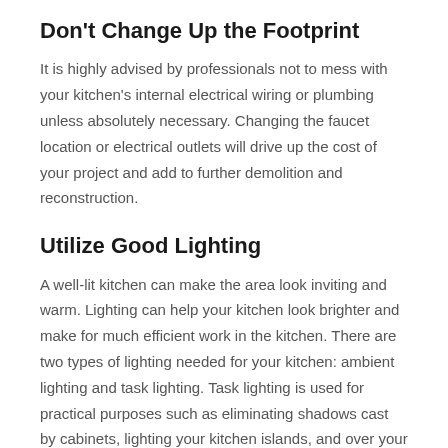Don't Change Up the Footprint
It is highly advised by professionals not to mess with your kitchen's internal electrical wiring or plumbing unless absolutely necessary. Changing the faucet location or electrical outlets will drive up the cost of your project and add to further demolition and reconstruction.
Utilize Good Lighting
A well-lit kitchen can make the area look inviting and warm. Lighting can help your kitchen look brighter and make for much efficient work in the kitchen. There are two types of lighting needed for your kitchen: ambient lighting and task lighting. Task lighting is used for practical purposes such as eliminating shadows cast by cabinets, lighting your kitchen islands, and over your sink and prep areas